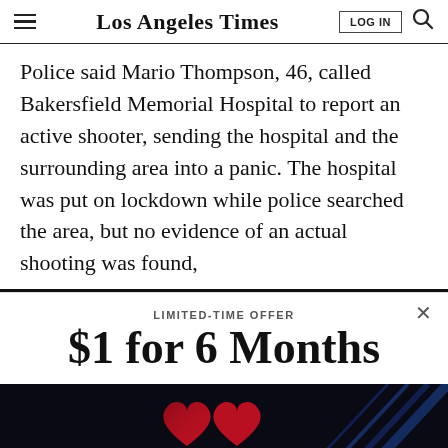Los Angeles Times
Police said Mario Thompson, 46, called Bakersfield Memorial Hospital to report an active shooter, sending the hospital and the surrounding area into a panic. The hospital was put on lockdown while police searched the area, but no evidence of an actual shooting was found,
LIMITED-TIME OFFER
$1 for 6 Months
[Figure (illustration): Dark background banner with red heart/iHeart logo graphic and blue diagonal light streaks]
By continuing to use our site, you agree to our Terms of Service and Privacy Policy. You can learn more about how we use cookies by reviewing our Privacy Policy. Close